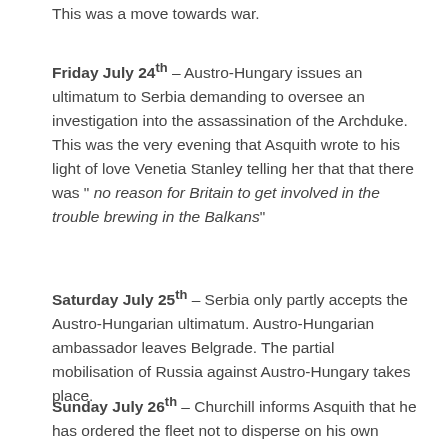This was a move towards war.
Friday July 24th – Austro-Hungary issues an ultimatum to Serbia demanding to oversee an investigation into the assassination of the Archduke. This was the very evening that Asquith wrote to his light of love Venetia Stanley telling her that that there was " no reason for Britain to get involved in the trouble brewing in the Balkans"
Saturday July 25th – Serbia only partly accepts the Austro-Hungarian ultimatum. Austro-Hungarian ambassador leaves Belgrade. The partial mobilisation of Russia against Austro-Hungary takes place.
Sunday July 26th – Churchill informs Asquith that he has ordered the fleet not to disperse on his own authority. It is decided to report this in the papers on